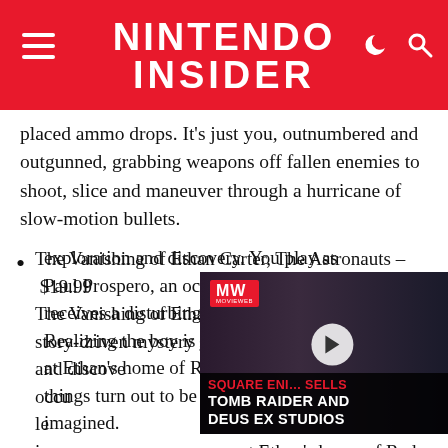NINTENDO INSIDER
placed ammo drops. It's just you, outnumbered and outgunned, grabbing weapons off fallen enemies to shoot, slice and maneuver through a hurricane of slow-motion bullets.
The Vanishing of Ethan Carter, The Astronauts – $19.99
The Vanishing of Ethan Carter is a first-person story-driven mystery game focused on exploration and discovery. You play as Paul Prospero, an occult-minded detective who receives a disturbing letter from a boy named Ethan. Realizing the boy is in grave danger, he travels at Ethan's home of Red Creek Valley, where things turn out to be even worse than he imagined.
[Figure (screenshot): Advertisement overlay showing 'SQUARE ENI SELLS TOMB RAIDER AND DEUS EX STUDIOS' with MW logo and play button, overlaid on the article content.]